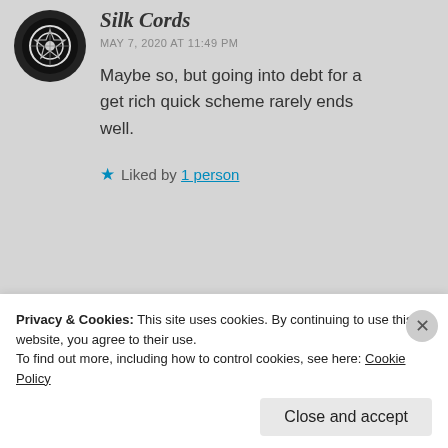[Figure (illustration): Circular avatar with dark background showing a stylized emblem/logo in white]
Silk Cords
MAY 7, 2020 AT 11:49 PM
Maybe so, but going into debt for a get rich quick scheme rarely ends well.
★ Liked by 1 person
[Figure (photo): Partial circular avatar photo, second commenter, partially visible]
Privacy & Cookies: This site uses cookies. By continuing to use this website, you agree to their use.
To find out more, including how to control cookies, see here: Cookie Policy
Close and accept